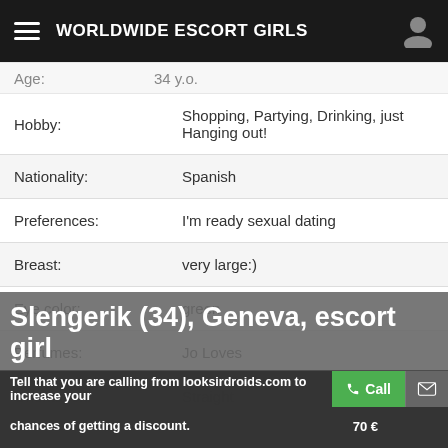WORLDWIDE ESCORT GIRLS
| Field | Value |
| --- | --- |
| Hobby: | Shopping, Partying, Drinking, just Hanging out! |
| Nationality: | Spanish |
| Preferences: | I'm ready sexual dating |
| Breast: | very large:) |
| Eye color: | green |
| Perfumes: | Jo Loves |
| Orientation: | Straight |
Slengerik (34), Geneva, escort girl
Tell that you are calling from looksirdroids.com to increase your chances of getting a discount.
70 €